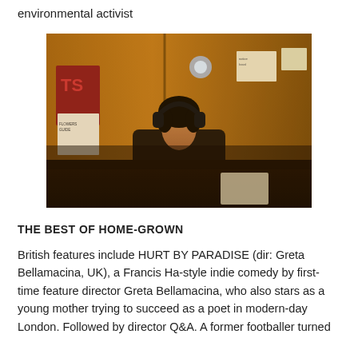environmental activist
[Figure (photo): Young man sitting wearing headphones in a dimly lit room with wooden panelling and posters on the wall behind him]
THE BEST OF HOME-GROWN
British features include HURT BY PARADISE (dir: Greta Bellamacina, UK), a Francis Ha-style indie comedy by first-time feature director Greta Bellamacina, who also stars as a young mother trying to succeed as a poet in modern-day London. Followed by director Q&A. A former footballer turned